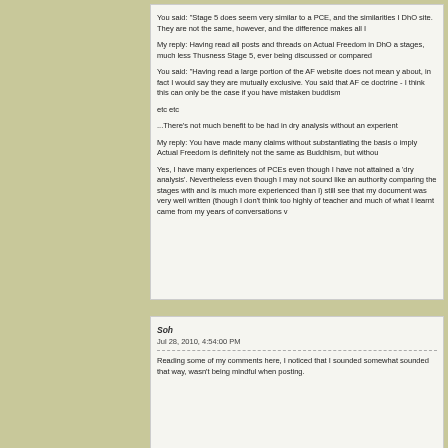You said: "Stage 5 does seem very similar to a PCE, and the similarities I DhO site. They are not the same, however, and the difference makes all I My reply: Having read all posts and threads on Actual Freedom in DhO a stages, much less Thusness Stage 5, ever being discussed or compared You said: "Having read a large portion of the AF website does not mean y about, in fact I would say they are mutually exclusive. You said that AF ce doctrine - I think this can only be the case if you have mistaken buddism etc etc ...There's not much benefit to be had in dry analysis without an experient My reply: You have made many claims without substantiating the basis o imply Actual Freedom is definitely not the same as Buddhism, but withou Yes, I have many experiences of PCEs even though I have not attained a 'dry analysis'. Nevertheless even though I may not sound like an authority comparing the stages with and is much more experienced than I) still see that my document was very well written (though I don't think too highly of teacher and much of what I learnt came from my years of conversations v
Soh
Jul 28, 2010, 4:54:00 PM

Reading some of my comments here, I noticed that I sounded somewhat sounded that way, wasn't being mindful when posting.
My Fragile Ego